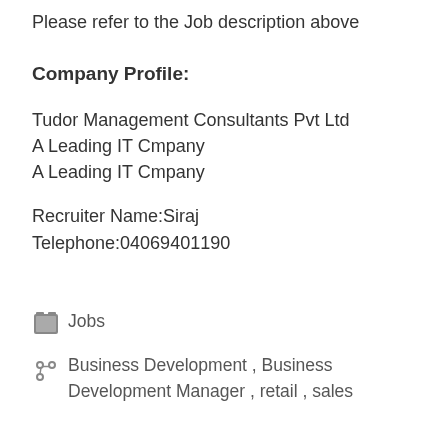Please refer to the Job description above
Company Profile:
Tudor Management Consultants Pvt Ltd
A Leading IT Cmpany
A Leading IT Cmpany
Recruiter Name:Siraj
Telephone:04069401190
Jobs
Business Development , Business Development Manager , retail , sales